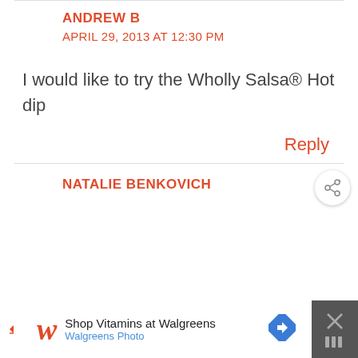ANDREW B
APRIL 29, 2013 AT 12:30 PM
I would like to try the Wholly Salsa® Hot dip
Reply
NATALIE BENKOVICH
[Figure (screenshot): Walgreens advertisement bar at bottom: Shop Vitamins at Walgreens / Walgreens Photo]
[Figure (other): Share button icon (circle with share symbol) on right side]